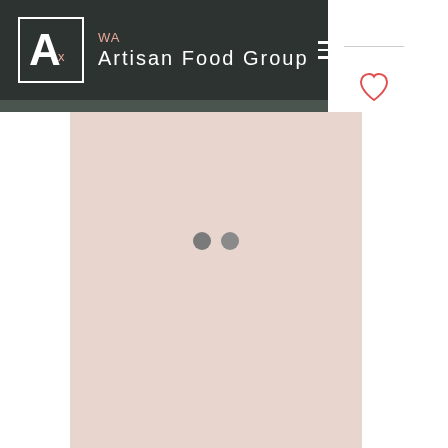[Figure (logo): WA Artisan Food Group logo with stylized 'A' in a white-bordered box on dark background, with hamburger menu icon]
[Figure (other): Loading indicator with two grey dots on a pink/blush background content area]